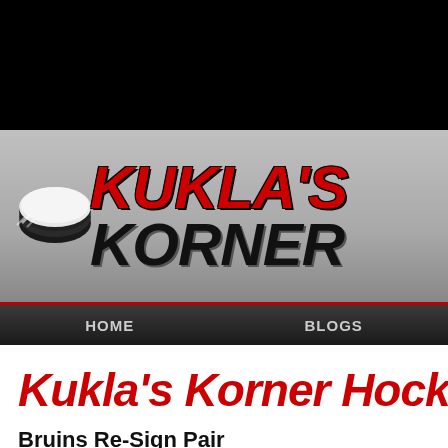[Figure (logo): Kukla's Korner hockey blog logo with hockey puck graphic and site name in red and black italic text on silver background]
HOME    BLOGS
Kukla's Korner Hocke
Bruins Re-Sign Pair
by Paul on 06/11/12 at 08:19 PM ET
Comments (0)